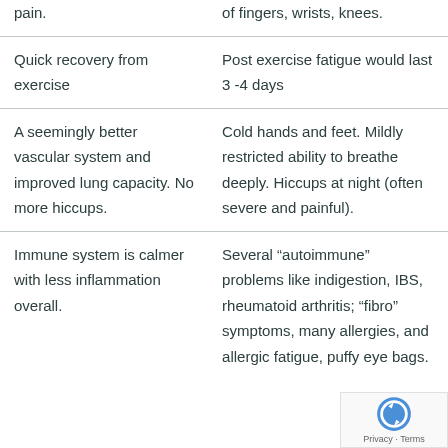| pain. | of fingers, wrists, knees. |
| Quick recovery from exercise | Post exercise fatigue would last 3 -4 days |
| A seemingly better vascular system and improved lung capacity. No more hiccups. | Cold hands and feet. Mildly restricted ability to breathe deeply. Hiccups at night (often severe and painful). |
| Immune system is calmer with less inflammation overall. | Several “autoimmune” problems like indigestion, IBS, rheumatoid arthritis; “fibro” symptoms, many allergies, and allergic fatigue, puffy eye bags. |